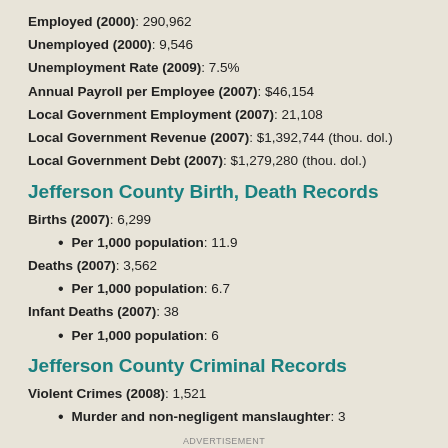Employed (2000): 290,962
Unemployed (2000): 9,546
Unemployment Rate (2009): 7.5%
Annual Payroll per Employee (2007): $46,154
Local Government Employment (2007): 21,108
Local Government Revenue (2007): $1,392,744 (thou. dol.)
Local Government Debt (2007): $1,279,280 (thou. dol.)
Jefferson County Birth, Death Records
Births (2007): 6,299
Per 1,000 population: 11.9
Deaths (2007): 3,562
Per 1,000 population: 6.7
Infant Deaths (2007): 38
Per 1,000 population: 6
Jefferson County Criminal Records
Violent Crimes (2008): 1,521
Murder and non-negligent manslaughter: 3
ADVERTISEMENT